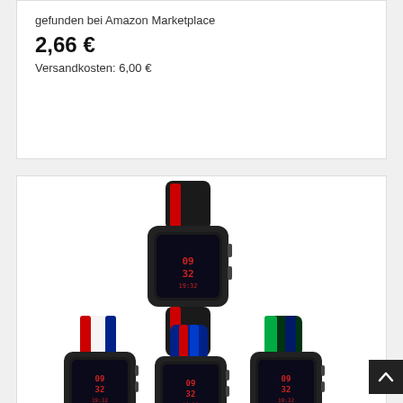gefunden bei Amazon Marketplace
2,66 €
Versandkosten: 6,00 €
[Figure (photo): Four smartwatches with nylon strap bands in different colors: black/red stripe, white/red/blue stripe, blue/red stripe, and green/dark blue stripe]
Nylon Quick Release Ersatz Uhr...
von Chainfo
gefunden bei Amazon Marketplace